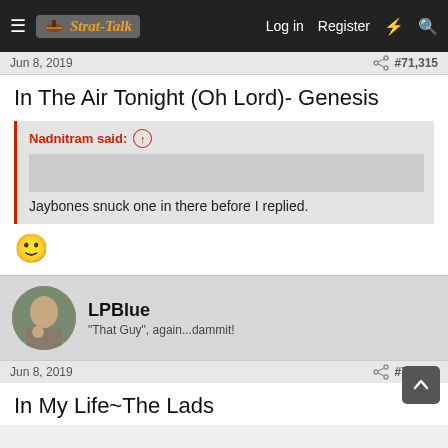Strat-Talk | Log in | Register
Jun 8, 2019 #71,315
In The Air Tonight (Oh Lord)- Genesis
Nadnitram said: ↑
Jaybones snuck one in there before I replied.
[Figure (other): Smiley face emoji 🙂]
LPBlue
"That Guy", again...dammit!
Jun 8, 2019 #71,316
In My Life~The Lads